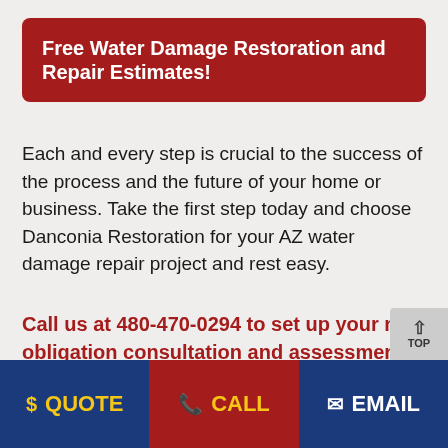Free Water Damage Restoration and Repair Estimates!
Each and every step is crucial to the success of the process and the future of your home or business. Take the first step today and choose Danconia Restoration for your AZ water damage repair project and rest easy.
Call us at 480-470-0294 to set up your no obligation consultation and assessment.
$ QUOTE   CALL   EMAIL